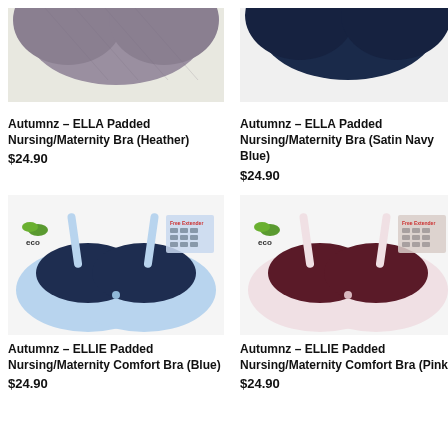[Figure (photo): Autumnz ELLA Padded Nursing/Maternity Bra in Heather color, top portion visible]
[Figure (photo): Autumnz ELLA Padded Nursing/Maternity Bra in Satin Navy Blue color, top portion visible]
Autumnz – ELLA Padded Nursing/Maternity Bra (Heather)
$24.90
Autumnz – ELLA Padded Nursing/Maternity Bra (Satin Navy Blue)
$24.90
[Figure (photo): Autumnz ELLIE Padded Nursing/Maternity Comfort Bra in Blue, light blue and navy two-tone bra with eco logo and free extender badge]
[Figure (photo): Autumnz ELLIE Padded Nursing/Maternity Comfort Bra in Pink, light pink and dark maroon two-tone bra with eco logo and free extender badge]
Autumnz – ELLIE Padded Nursing/Maternity Comfort Bra (Blue)
$24.90
Autumnz – ELLIE Padded Nursing/Maternity Comfort Bra (Pink)
$24.90